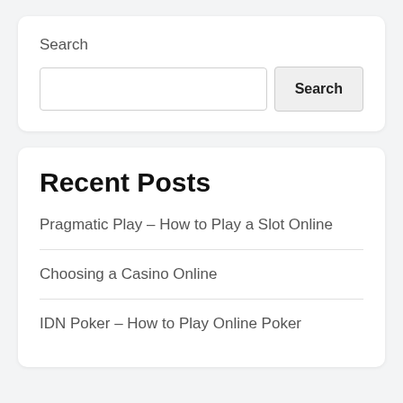Search
Recent Posts
Pragmatic Play – How to Play a Slot Online
Choosing a Casino Online
IDN Poker – How to Play Online Poker